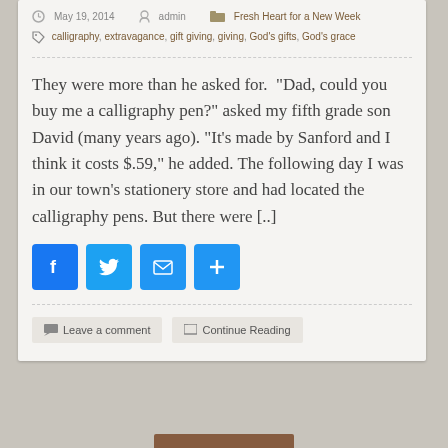May 19, 2014  admin  Fresh Heart for a New Week
calligraphy, extravagance, gift giving, giving, God's gifts, God's grace
They were more than he asked for.  "Dad, could you buy me a calligraphy pen?" asked my fifth grade son David (many years ago). "It's made by Sanford and I think it costs $.59," he added. The following day I was in our town's stationery store and had located the calligraphy pens. But there were [..]
[Figure (infographic): Social share buttons: Facebook (blue f), Twitter (blue bird), Email (blue envelope), Share (blue plus)]
Leave a comment   Continue Reading